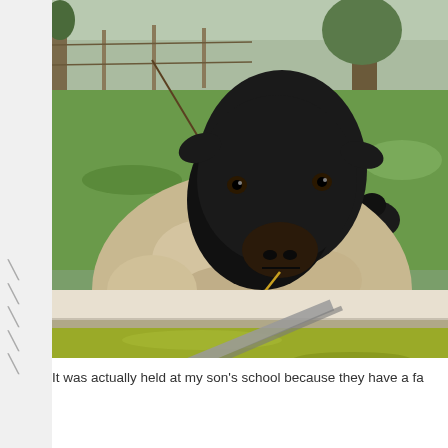[Figure (photo): A black-faced sheep with woolly tan body looking directly at the camera, standing near a water trough filled with greenish water. A smaller black lamb is visible behind the ewe. The background shows a green grassy paddock with trees and a fence.]
It was actually held at my son's school because they have a fa